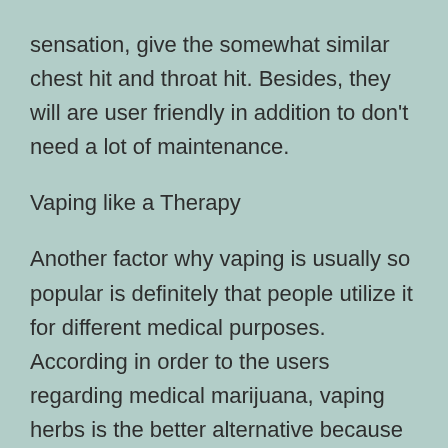sensation, give the somewhat similar chest hit and throat hit. Besides, they will are user friendly in addition to don't need a lot of maintenance.
Vaping like a Therapy
Another factor why vaping is usually so popular is definitely that people utilize it for different medical purposes. According in order to the users regarding medical marijuana, vaping herbs is the better alternative because it offers much better taste as a result of deficiency of